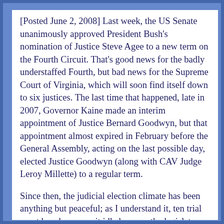[Posted June 2, 2008] Last week, the US Senate unanimously approved President Bush's nomination of Justice Steve Agee to a new term on the Fourth Circuit. That's good news for the badly understaffed Fourth, but bad news for the Supreme Court of Virginia, which will soon find itself down to six justices. The last time that happened, late in 2007, Governor Kaine made an interim appointment of Justice Bernard Goodwyn, but that appointment almost expired in February before the General Assembly, acting on the last possible day, elected Justice Goodwyn (along with CAV Judge Leroy Millette) to a regular term.
Since then, the judicial election climate has been anything but peaceful; as I understand it, ten trial court benches now sit idle because the legislators have been unable to agree upon the men and women who would fill them. The